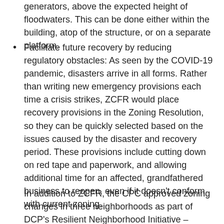generators, above the expected height of floodwaters. This can be done either within the building, atop of the structure, or on a separate platform.
Facilitate future recovery by reducing regulatory obstacles: As seen by the COVID-19 pandemic, disasters arrive in all forms. Rather than writing new emergency provisions each time a crisis strikes, ZCFR would place recovery provisions in the Zoning Resolution, so they can be quickly selected based on the issues caused by the disaster and recovery period. These provisions include cutting down on red tape and paperwork, and allowing additional time for an affected, grandfathered business to reopen, even if it doesn't conform with current zoning.
In addition to ZCFR, the CPC approved zoning changes in three neighborhoods as part of DCP's Resilient Neighborhood Initiative – Gerritsen Beach and Sheepshead Bay in Brooklyn, and Old Howard Beach in